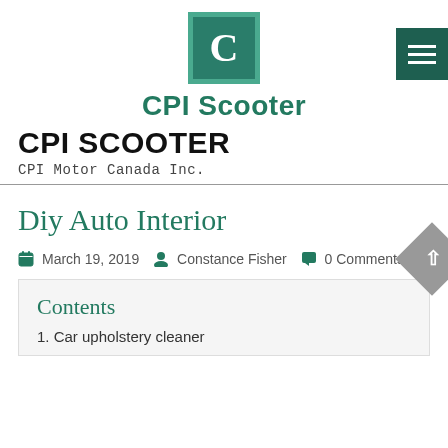[Figure (logo): CPI Scooter logo: green square with white letter C]
CPI Scooter
CPI SCOOTER
CPI Motor Canada Inc.
Diy Auto Interior
March 19, 2019  Constance Fisher  0 Comments
Contents
1. Car upholstery cleaner